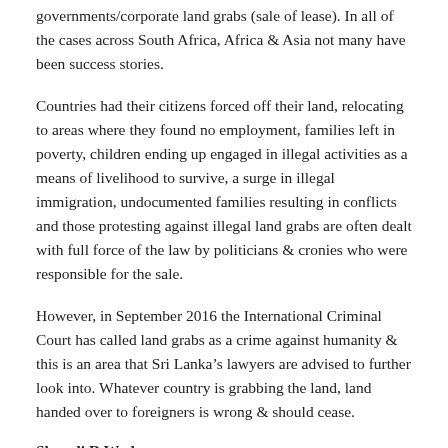governments/corporate land grabs (sale of lease). In all of the cases across South Africa, Africa & Asia not many have been success stories.
Countries had their citizens forced off their land, relocating to areas where they found no employment, families left in poverty, children ending up engaged in illegal activities as a means of livelihood to survive, a surge in illegal immigration, undocumented families resulting in conflicts and those protesting against illegal land grabs are often dealt with full force of the law by politicians & cronies who were responsible for the sale.
However, in September 2016 the International Criminal Court has called land grabs as a crime against humanity & this is an area that Sri Lanka’s lawyers are advised to further look into. Whatever country is grabbing the land, land handed over to foreigners is wrong & should cease.
Shenali D Waduge